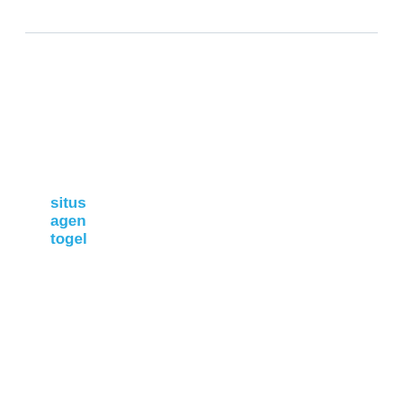situs agen togel
Slot gacor
slot hoki